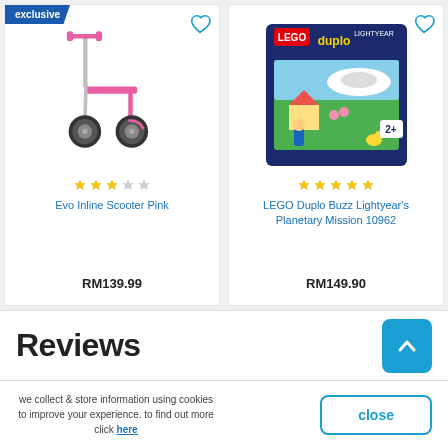[Figure (photo): Pink kick scooter product image with exclusive badge]
[Figure (photo): LEGO Duplo Buzz Lightyear's Planetary Mission 10962 box]
★★★☆☆
Evo Inline Scooter Pink
RM139.99
★★★★★
LEGO Duplo Buzz Lightyear's Planetary Mission 10962
RM149.90
Reviews
we collect & store information using cookies to improve your experience. to find out more click here
close